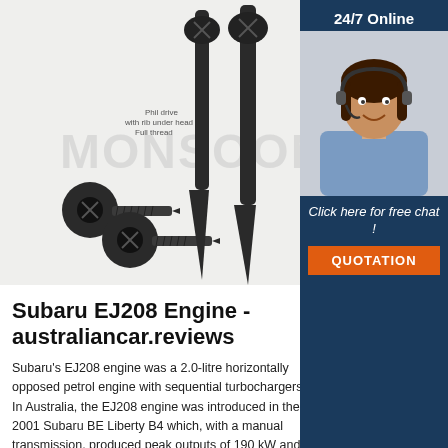[Figure (photo): Photo of dark metal self-tapping screws (Phil drive with rib under head, full thread) on light background with MONSOON watermark text. Multiple screws shown lying flat and standing upright.]
[Figure (photo): Customer service representative woman with headset smiling, used in 24/7 online chat sidebar advertisement.]
Subaru EJ208 Engine - australiancar.reviews
Subaru's EJ208 engine was a 2.0-litre horizontally opposed petrol engine with sequential turbochargers. In Australia, the EJ208 engine was introduced in the 2001 Subaru BE Liberty B4 which, with a manual transmission, produced peak outputs of 190 kW and 320 Nm. From 2002, the BE Liberty B4 was offered with an automatic transmission for which the EJ208